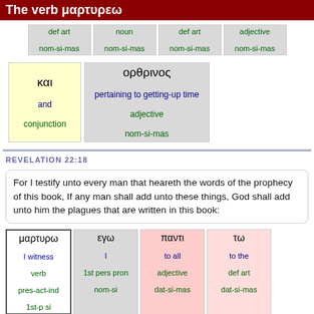The verb μαρτυρεω
| def art | noun | def art | adjective |
| --- | --- | --- | --- |
| nom-si-mas | nom-si-mas | nom-si-mas | nom-si-mas |
| και
and
conjunction | ορθρινος
pertaining to getting-up time
adjective
nom-si-mas |
REVELATION 22:18
For I testify unto every man that heareth the words of the prophecy of this book, If any man shall add unto these things, God shall add unto him the plagues that are written in this book:
| μαρτυρω | εγω | παντι | τω |
| --- | --- | --- | --- |
| I witness
verb
pres-act-ind
1st-p si | I
1st pers pron
nom-si | to all
adjective
dat-si-mas | to the
def art
dat-si-mas |
| ακουοντι | τους | λογους | της |
| --- | --- | --- | --- |